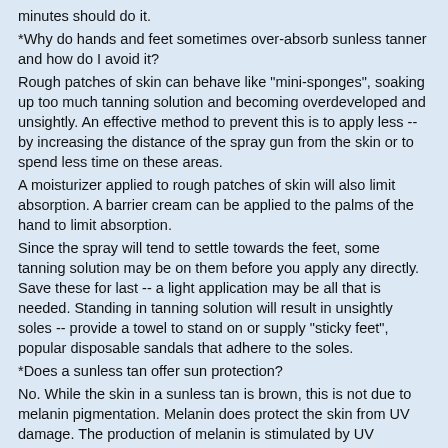minutes should do it.
*Why do hands and feet sometimes over-absorb sunless tanner and how do I avoid it?
Rough patches of skin can behave like "mini-sponges", soaking up too much tanning solution and becoming overdeveloped and unsightly. An effective method to prevent this is to apply less -- by increasing the distance of the spray gun from the skin or to spend less time on these areas.
A moisturizer applied to rough patches of skin will also limit absorption. A barrier cream can be applied to the palms of the hand to limit absorption.
Since the spray will tend to settle towards the feet, some tanning solution may be on them before you apply any directly. Save these for last -- a light application may be all that is needed. Standing in tanning solution will result in unsightly soles -- provide a towel to stand on or supply "sticky feet", popular disposable sandals that adhere to the soles.
*Does a sunless tan offer sun protection?
No. While the skin in a sunless tan is brown, this is not due to melanin pigmentation. Melanin does protect the skin from UV damage. The production of melanin is stimulated by UV exposure received in a sun tan or tanning bed. The sunless tan is developed without UV exposure.
Furthermore it is rare (and not advisable in our view) for an SPF additive to be included in a sunless formula.
*Will a DHA sunless formula provide vitamins for the...